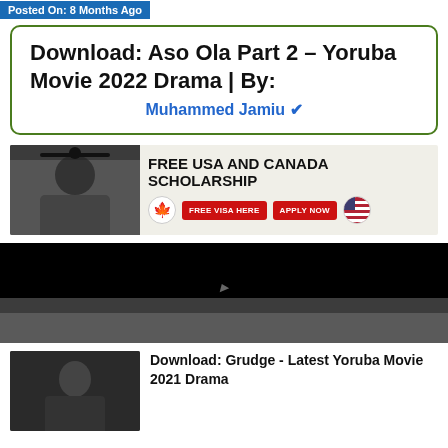Posted On: 8 Months Ago
Download: Aso Ola Part 2 – Yoruba Movie 2022 Drama | By: Muhammed Jamiu ✔
[Figure (photo): Advertisement banner for Free USA and Canada Scholarship with graduate photo, maple leaf icon, two red buttons labeled FREE VISA HERE and APPLY NOW, and US flag icon]
[Figure (screenshot): Video player screenshot showing dark background movie scene]
Download: Grudge - Latest Yoruba Movie 2021 Drama